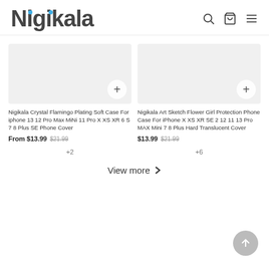Nigikala
[Figure (screenshot): Product image placeholder for Nigikala Crystal Flamingo Plating Soft Case]
Nigikala Crystal Flamingo Plating Soft Case For iphone 13 12 Pro Max MiNi 11 Pro X XS XR 6 S 7 8 Plus SE Phone Cover
From $13.99 $21.99
+2
[Figure (screenshot): Product image placeholder for Nigikala Art Sketch Flower Girl Protection Phone Case]
Nigikala Art Sketch Flower Girl Protection Phone Case For iPhone X XS XR SE 2 12 11 13 Pro MAX Mini 7 8 Plus Hard Translucent Cover
$13.99 $21.99
+6
View more >